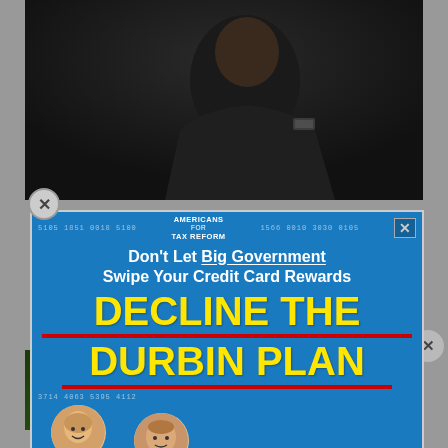[Figure (photo): Dark photograph of a military officer in uniform, partially visible from the shoulders up, dark background]
[Figure (infographic): Americans for Tax Reform advertisement overlay. Blue background with credit card number watermarks. Text: 'Don't Let Big Government Swipe Your Credit Card Rewards DECLINE THE DURBIN PLAN'. Two caricature figures with Biden head labeled 'DON'T BLAME ME' and Durbin head labeled 'NO REWARDS FOR ALL'. Paid for by Americans for Tax Reform.]
[Figure (infographic): Narcofornia advertisement banner. Green leafy background. Text: 'HOW PROGRESSIVES SOLD OUT RURAL TOWNS TO FOREIGN DRUG LORDS' with NARCOFORNIA logo. Red play button with 'WATCH NOW' text.]